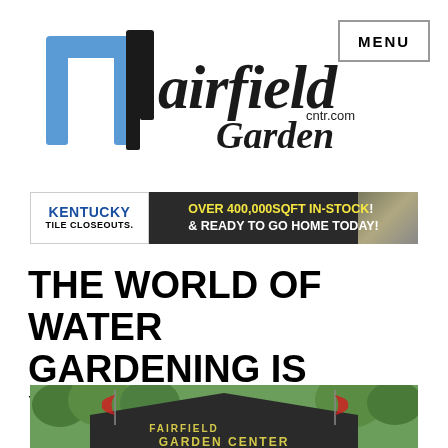[Figure (logo): Fairfield Garden Center logo with stylized gate icon in blue and black, cursive 'fairfield Garden cntr.com' text]
MENU
[Figure (infographic): Kentucky Tile Closeouts advertisement banner: 'OVER 400,000SQFT IN-STOCK & READY TO GO HOME TODAY!' with stone/tile image on right]
THE WORLD OF WATER GARDENING IS YOURS!
[Figure (photo): Photo of Fairfield Garden Center building exterior with sign reading 'FAIRFIELD GARDEN CENTER' and decorative koi flags, green trees in background]